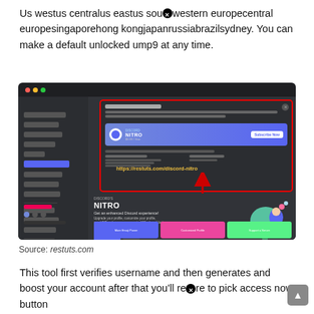Us westus centralus eastus southwestern europecentral europesingaporehong kongjapanrussiabrazilsydney. You can make a default unlocked ump9 at any time.
[Figure (screenshot): Screenshot of Discord settings page showing a subscription dialog with a red border, Discord Nitro promotion section, and an arrow pointing to a URL 'https://restuts.com/discord-nitro' shown in yellow text.]
Source: restuts.com
This tool first verifies username and then generates and boost your account after that you'll re[X] to pick access now button